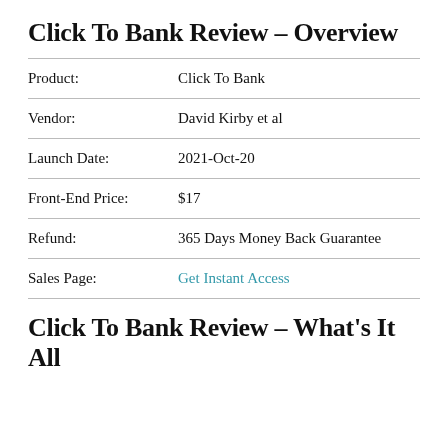Click To Bank Review – Overview
| Product: | Click To Bank |
| Vendor: | David Kirby et al |
| Launch Date: | 2021-Oct-20 |
| Front-End Price: | $17 |
| Refund: | 365 Days Money Back Guarantee |
| Sales Page: | Get Instant Access |
Click To Bank Review – What's It All